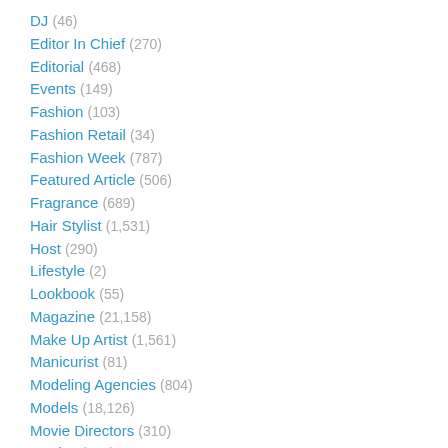DJ (46)
Editor In Chief (270)
Editorial (468)
Events (149)
Fashion (103)
Fashion Retail (34)
Fashion Week (787)
Featured Article (506)
Fragrance (689)
Hair Stylist (1,531)
Host (290)
Lifestyle (2)
Lookbook (55)
Magazine (21,158)
Make Up Artist (1,561)
Manicurist (81)
Modeling Agencies (804)
Models (18,126)
Movie Directors (310)
Movies (218)